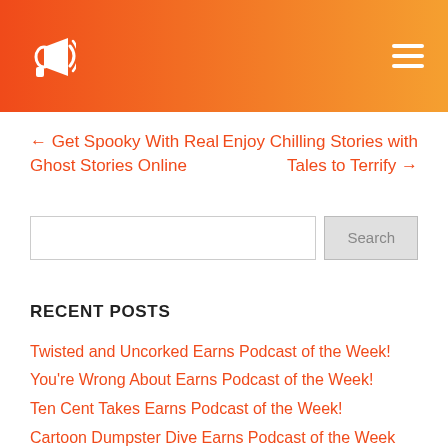Header bar with megaphone icon and hamburger menu
← Get Spooky With Real Ghost Stories Online
Enjoy Chilling Stories with Tales to Terrify →
[Figure (other): Search input field with Search button]
RECENT POSTS
Twisted and Uncorked Earns Podcast of the Week!
You're Wrong About Earns Podcast of the Week!
Ten Cent Takes Earns Podcast of the Week!
Cartoon Dumpster Dive Earns Podcast of the Week
Writing Community Chat Show Earns Podcast of the Week